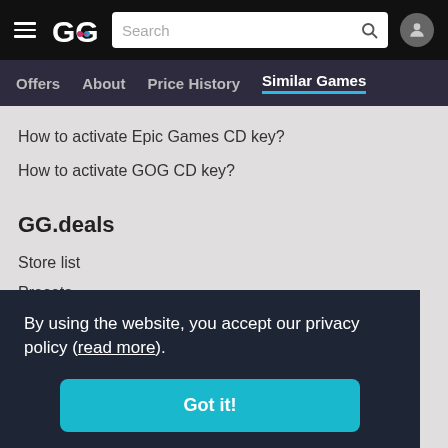GG.deals navigation header with search bar
Offers | About | Price History | Similar Games
How to activate Epic Games CD key?
How to activate GOG CD key?
GG.deals
Store list
Presets
Contact us
By using the website, you accept our privacy policy (read more).
Got it!